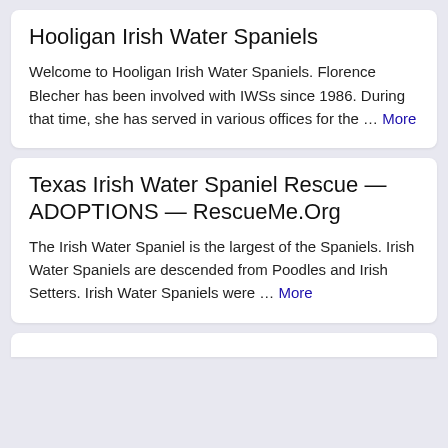Hooligan Irish Water Spaniels
Welcome to Hooligan Irish Water Spaniels. Florence Blecher has been involved with IWSs since 1986. During that time, she has served in various offices for the … More
Texas Irish Water Spaniel Rescue — ADOPTIONS — RescueMe.Org
The Irish Water Spaniel is the largest of the Spaniels. Irish Water Spaniels are descended from Poodles and Irish Setters. Irish Water Spaniels were … More